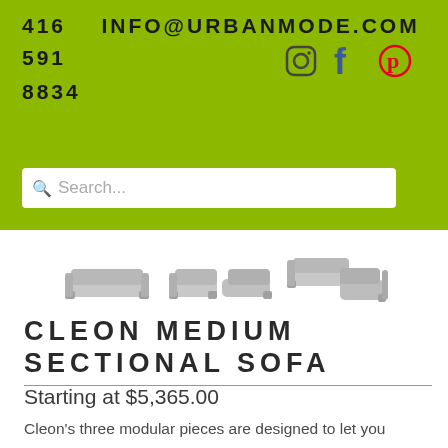416 591 8834   INFO@URBANMODE.COM
[Figure (screenshot): Social media icons: Instagram, Facebook, Pinterest]
[Figure (screenshot): Search bar with placeholder text 'Search...']
[Figure (photo): Three thumbnail images of the Cleon modular sectional sofa configurations]
CLEON MEDIUM SECTIONAL SOFA
Starting at $5,365.00
Cleon's three modular pieces are designed to let you configure and reconfigure your own perfect seating solution. Stick with your favorite or switch it up. These upholstered